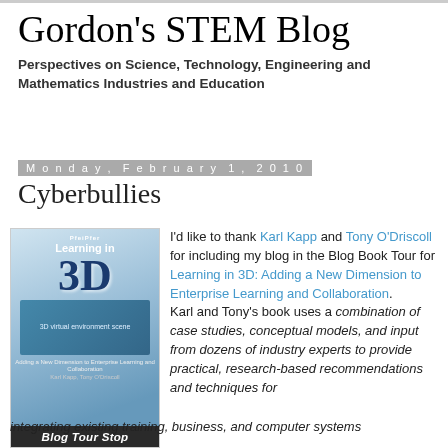Gordon's STEM Blog
Perspectives on Science, Technology, Engineering and Mathematics Industries and Education
Monday, February 1, 2010
Cyberbullies
[Figure (photo): Book cover for 'Learning in 3D' with Blog Tour Stop label at bottom]
I'd like to thank Karl Kapp and Tony O'Driscoll for including my blog in the Blog Book Tour for Learning in 3D: Adding a New Dimension to Enterprise Learning and Collaboration. Karl and Tony's book uses a combination of case studies, conceptual models, and input from dozens of industry experts to provide practical, research-based recommendations and techniques for integrating existing training, business, and computer systems